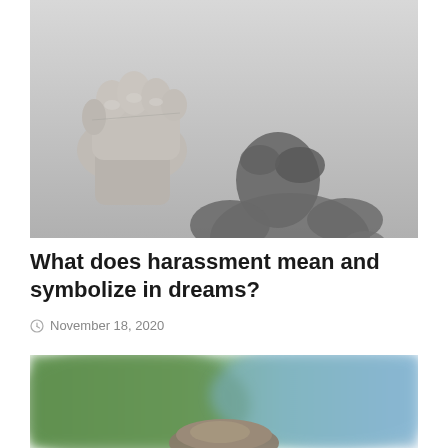[Figure (photo): Black and white photo showing a raised fist on the upper left and a person's shadow (head bowed, hunched) on a light gray background, depicting harassment or violence.]
What does harassment mean and symbolize in dreams?
November 18, 2020
[Figure (photo): Color photo with a blurred green and blue background, showing what appears to be a rock or natural object in the foreground, partially visible at the bottom of the page.]